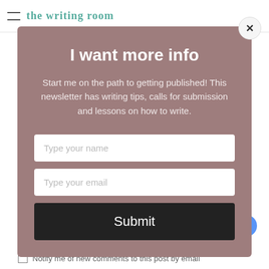the writing room
I want more info
Start me on the path to getting published! This newsletter has writing tips, calls for submission and lessons on how to write.
Type your name
Type your email
Submit
Message Us
Notify me of new comments to this post by email